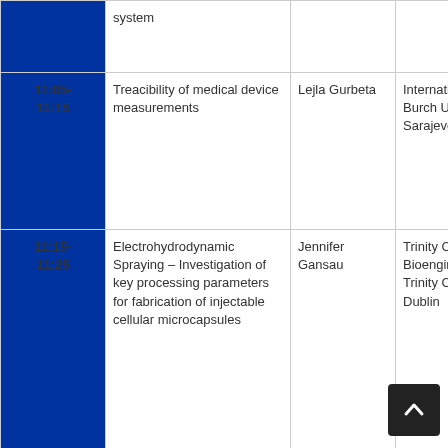| Time | Title | Author | Organization |
| --- | --- | --- | --- |
|  | system |  |  |
| 11:05-11:15 | Treacibility of medical device measurements | Lejla Gurbeta | International Burch University Sarajevo |
| 11:15-11:25 | Electrohydrodynamic Spraying – Investigation of key processing parameters for fabrication of injectable cellular microcapsules | Jennifer Gansau | Trinity Centre for Bioengineering, Trinity College Dublin |
| 11:25-11:35 | Case study of preprocessing techniques applied to colonoscopy | Alain Sànchez-Gonzàlez | University of Deust… |